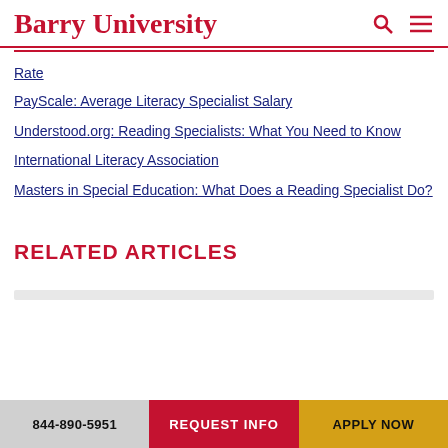Barry University
Rate
PayScale: Average Literacy Specialist Salary
Understood.org: Reading Specialists: What You Need to Know
International Literacy Association
Masters in Special Education: What Does a Reading Specialist Do?
RELATED ARTICLES
844-890-5951 | REQUEST INFO | APPLY NOW